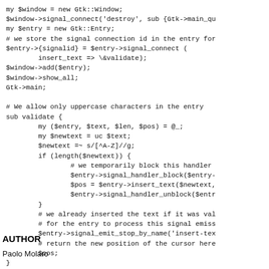my $window = new Gtk::Window;
$window->signal_connect('destroy', sub {Gtk->main_qu
my $entry = new Gtk::Entry;
# we store the signal connection id in the entry for
$entry->{signalid} = $entry->signal_connect (
        insert_text => \&validate);
$window->add($entry);
$window->show_all;
Gtk->main;

# We allow only uppercase characters in the entry
sub validate {
        my ($entry, $text, $len, $pos) = @_;
        my $newtext = uc $text;
        $newtext =~ s/[^A-Z]//g;
        if (length($newtext)) {
                # we temporarily block this handler
                $entry->signal_handler_block($entry-
                $pos = $entry->insert_text($newtext,
                $entry->signal_handler_unblock($entr
        }
        # we already inserted the text if it was val
        # for the entry to process this signal emiss
        $entry->signal_emit_stop_by_name('insert-tex
        # return the new position of the cursor here
        $pos;
}
AUTHOR
Paolo Molaro